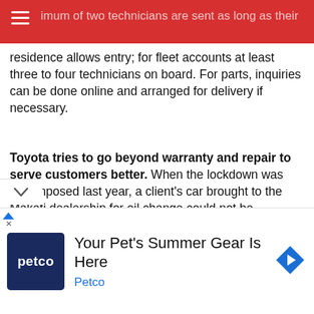imum of two technicians are sent as long as their
residence allows entry; for fleet accounts at least three to four technicians on board. For parts, inquiries can be done online and arranged for delivery if necessary.
Toyota tries to go beyond warranty and repair to serve customers better. When the lockdown was first imposed last year, a client's car brought to the Makati dealership for oil change could not be released. Toyota Makati Inc. went out of its way to deliver the car to the client despite limited operational capacity. Worried the client might need the vehicle for emergencies since they have three senior citizens, the dealership's General Manager Lee Junia himself delivered the car to the client's home a few days after a request for vehicle
[Figure (screenshot): Advertisement banner for Petco: 'Your Pet's Summer Gear Is Here' with Petco logo and navigation arrow icon]